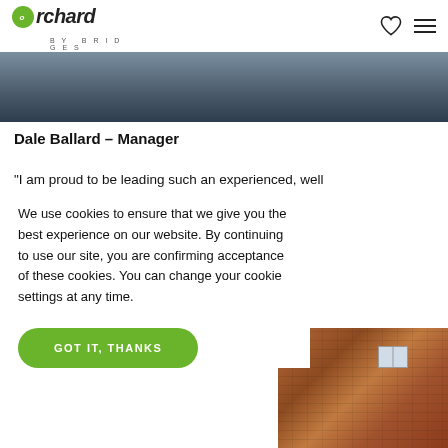Orchard by Bridges
[Figure (photo): Partial view of a person in dark clothing, cropped at the top of the page as a hero image]
Dale Ballard – Manager
"I am proud to be leading such an experienced, well [rounded team of pr]ofessionals in my [office. Our goal is] to provide an [excelle]nt [servic]e standards to [our clients, whether] to either sell, [let or manage, our mar]keting strategy [is clear and bei]ng pro-active [and results driven is c]entral to our [approach.]"
We use cookies to ensure that we give you the best experience on our website. By continuing to use our site, you are confirming acceptance of these cookies. You can change your cookie settings at any time.
GOT IT, THANKS
[Figure (photo): Brick building exterior with a window, partially visible at the bottom right]